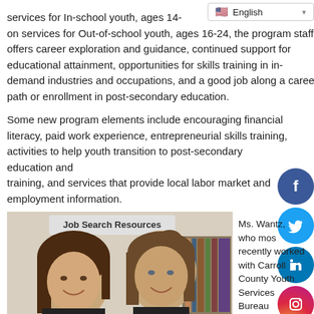services for In-school youth, ages 14- on services for Out-of-school youth, ages 16-24, the program staff offers career exploration and guidance, continued support for educational attainment, opportunities for skills training in in-demand industries and occupations, and a good job along a career path or enrollment in post-secondary education.
Some new program elements include encouraging financial literacy, paid work experience, entrepreneurial skills training, activities to help youth transition to post-secondary education and training, and services that provide local labor market and employment information.
[Figure (photo): Two women smiling in an office setting with a 'Job Search Resources' sign visible in the background.]
Ms. Wantz, who most recently worked with Carroll County Youth Services Bureau